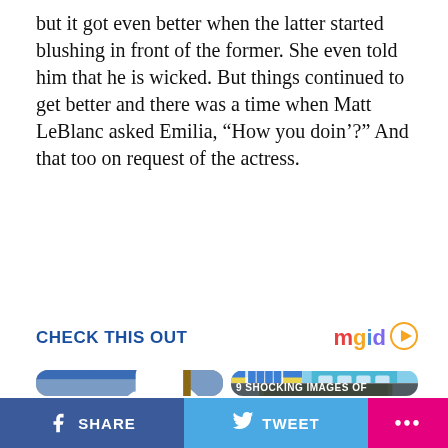but it got even better when the latter started blushing in front of the former. She even told him that he is wicked. But things continued to get better and there was a time when Matt LeBlanc asked Emilia, “How you doin’?” And that too on request of the actress.
CHECK THIS OUT
[Figure (logo): mgid logo with play button]
[Figure (photo): Woman in white dress on stage with US flag in background]
[Figure (photo): Collage: Ukraine fist graphic, blue modern building, distant structure. Caption: 9 SHOCKING IMAGES OF]
SHARE   TWEET   ...